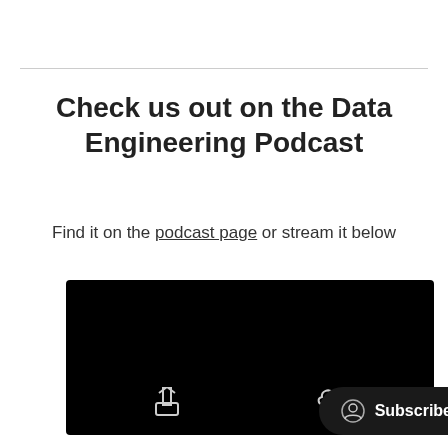Check us out on the Data Engineering Podcast
Find it on the podcast page or stream it below
[Figure (screenshot): Podcast player embed with black background, share icon, download icon, and a Subscribe button with a user icon]